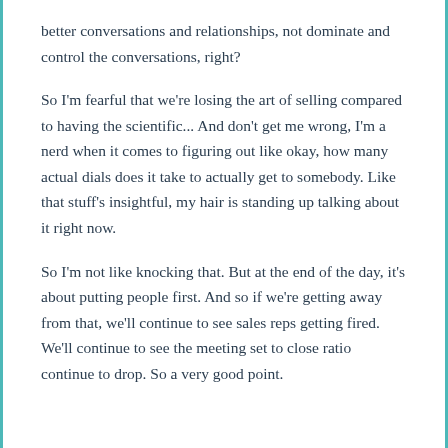better conversations and relationships, not dominate and control the conversations, right?
So I'm fearful that we're losing the art of selling compared to having the scientific... And don't get me wrong, I'm a nerd when it comes to figuring out like okay, how many actual dials does it take to actually get to somebody. Like that stuff's insightful, my hair is standing up talking about it right now.
So I'm not like knocking that. But at the end of the day, it's about putting people first. And so if we're getting away from that, we'll continue to see sales reps getting fired. We'll continue to see the meeting set to close ratio continue to drop. So a very good point.